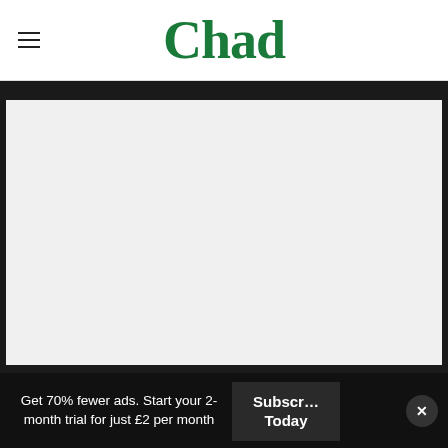Chad
[Figure (other): Large blank/placeholder image area with light gray background, framed by dark border]
Get 70% fewer ads. Start your 2-month trial for just £2 per month
Subscribe Today